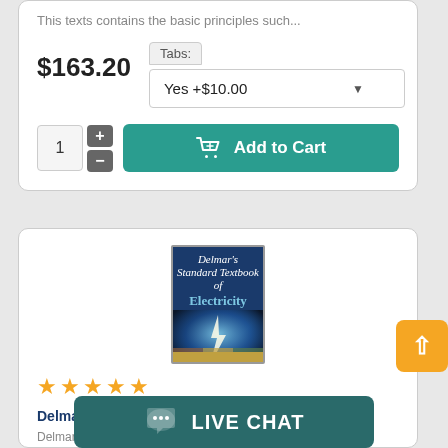This texts contains the basic principles such...
$163.20
Tabs: Yes +$10.00
1
Add to Cart
[Figure (photo): Book cover of Delmars Standard Textbook of Electricity with blue electric imagery]
★★★★★
Delmars Standard Textbook of Electricity
Delmar... ...
[Figure (screenshot): Live Chat button overlay at bottom of page]